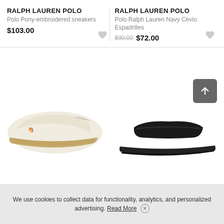RALPH LAUREN POLO
Polo Pony-embroidered sneakers
$103.00
RALPH LAUREN POLO
Polo Ralph Lauren Navy Cevio Espadrilles
$90.00 $72.00
[Figure (photo): Cream/beige espadrille slip-on shoe with rope sole and small polo pony emblem]
[Figure (photo): Black slide sandal with wide strap]
We use cookies to collect data for functionality, analytics, and personalized advertising. Read More